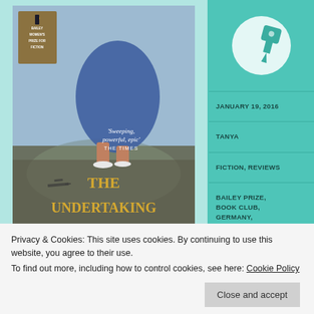[Figure (photo): Book cover of 'The Undertaking' with quote 'Sweeping, powerful, epic' - THE TIMES, showing a woman's legs walking through water with a warplane reflection, with a Bailey Prize badge]
[Figure (illustration): Teal circular pin/thumbtack icon on teal background]
JANUARY 19, 2016
TANYA
FICTION, REVIEWS
BAILEY PRIZE, BOOK CLUB, GERMANY, HISTORICAL FICTION, RUSSIA,
Privacy & Cookies: This site uses cookies. By continuing to use this website, you agree to their use.
To find out more, including how to control cookies, see here: Cookie Policy
Close and accept